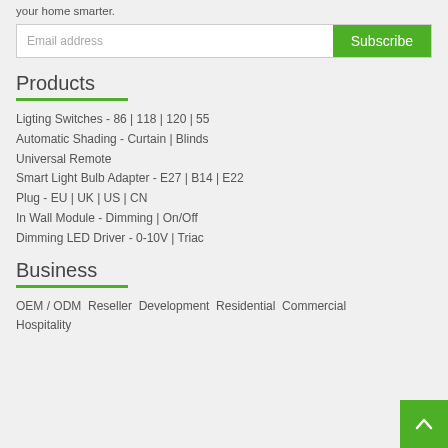your home smarter.
[Figure (other): Email address input field with green Subscribe button]
Products
Ligting Switches - 86 | 118 | 120 | 55
Automatic Shading - Curtain | Blinds
Universal Remote
Smart Light Bulb Adapter - E27 | B14 | E22
Plug - EU | UK | US | CN
In Wall Module - Dimming | On/Off
Dimming LED Driver - 0-10V | Triac
Business
OEM / ODM  Reseller  Development  Residential  Commercial
Hospitality